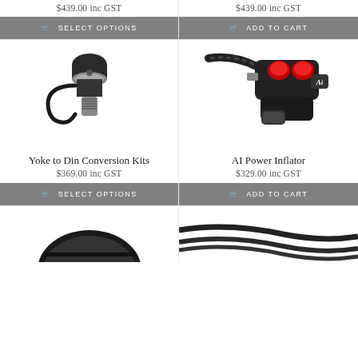$439.00 inc GST
$439.00 inc GST
SELECT OPTIONS
ADD TO CART
[Figure (photo): Yoke to Din Conversion Kit - black metal scuba diving adapter with loop tether]
[Figure (photo): AI Power Inflator - black inflator with red buttons and corrugated hose]
Yoke to Din Conversion Kits
$369.00 inc GST
SELECT OPTIONS
AI Power Inflator
$329.00 inc GST
ADD TO CART
[Figure (photo): Bottom left product - diving mask or goggles, partially visible]
[Figure (photo): Bottom right product - diving straps or bands, partially visible]